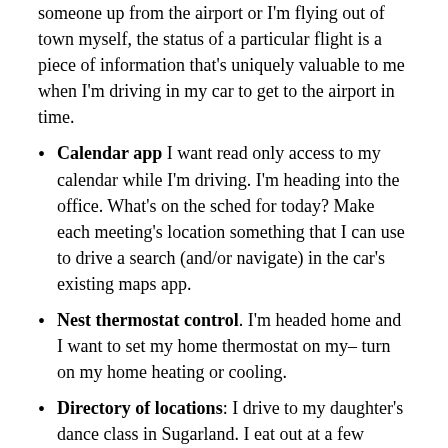someone up from the airport or I'm flying out of town myself, the status of a particular flight is a piece of information that's uniquely valuable to me when I'm driving in my car to get to the airport in time.
Calendar app I want read only access to my calendar while I'm driving. I'm heading into the office. What's on the sched for today? Make each meeting's location something that I can use to drive a search (and/or navigate) in the car's existing maps app.
Nest thermostat control. I'm headed home and I want to set my home thermostat on my– turn on my home heating or cooling.
Directory of locations: I drive to my daughter's dance class in Sugarland. I eat out at a few restaurants on a frequent basis (Chuy's, a hotel near the office, etc). I frequently travel to my offices. Like your phone has a phone book of